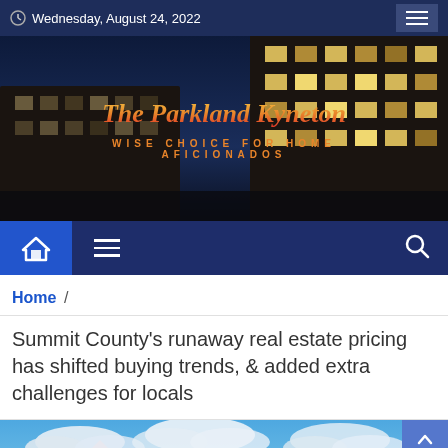Wednesday, August 24, 2022
[Figure (photo): Dark building facade at dusk with lit windows and ivy, used as hero banner background]
The Parkland Kyneton
WISE CHOICE FOR HOME AFICIONADOS
[Figure (infographic): Navigation bar with home icon, hamburger menu, and search icon]
Home /
Summit County's runaway real estate pricing has shifted buying trends, & added extra challenges for locals
[Figure (photo): Mountain landscape with snow-capped peaks, pine trees, and red-roofed buildings under a partly cloudy blue sky]